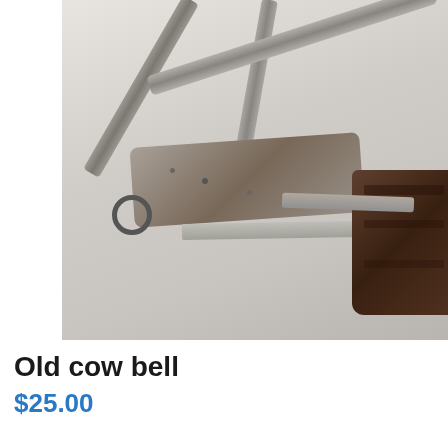[Figure (photo): A photograph of an old metal cow bell with leather/metal straps and buckle hardware, and a dark wooden bell body visible on the right side. The items rest on a light gray surface.]
Old cow bell
$25.00